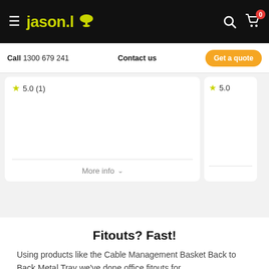[Figure (screenshot): Jason.l website navigation bar with logo, hamburger menu, search and cart icons on dark background]
Call 1300 679 241  Contact us  Get a quote
5.0 (1)
More info
5.0
Fitouts? Fast!
Using products like the Cable Management Basket Back to Back Metal Tray we've done office fitouts for